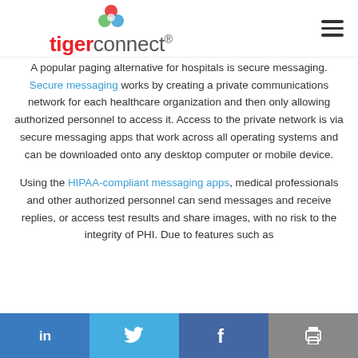[Figure (logo): TigerConnect logo with flower icon and red/gray wordmark]
A popular paging alternative for hospitals is secure messaging. Secure messaging works by creating a private communications network for each healthcare organization and then only allowing authorized personnel to access it. Access to the private network is via secure messaging apps that work across all operating systems and can be downloaded onto any desktop computer or mobile device.
Using the HIPAA-compliant messaging apps, medical professionals and other authorized personnel can send messages and receive replies, or access test results and share images, with no risk to the integrity of PHI. Due to features such as
in  [twitter bird]  f  [print icon]